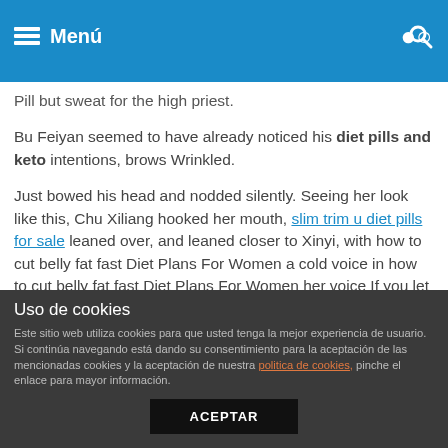Menú
Pill but sweat for the high priest.
Bu Feiyan seemed to have already noticed his diet pills and keto intentions, brows Wrinkled.
Just bowed his head and nodded silently. Seeing her look like this, Chu Xiliang hooked her mouth, slim trim u diet pills for sale leaned over, and leaned closer to Xinyi, with how to cut belly fat fast Diet Plans For Women a cold voice in how to cut belly fat fast Diet Plans For Women her voice If you let me know how to cut belly fat fast Safe Quick Weight Loss that you said something else, then Wei Fat Burning Diet Plan taking phentermine for 2 years Zhong might Fat Burning Diet Plan taking phentermine for 2 years have to go to experience again.
Uso de cookies
Este sitio web utiliza cookies para que usted tenga la mejor experiencia de usuario. Si continúa navegando está dando su consentimiento para la aceptación de las mencionadas cookies y la aceptación de nuestra política de cookies, pinche el enlace para mayor información.